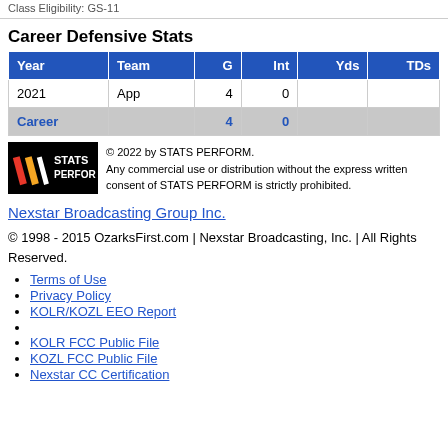Class Eligibility: GS-11
Career Defensive Stats
| Year | Team | G | Int | Yds | TDs |
| --- | --- | --- | --- | --- | --- |
| 2021 | App | 4 | 0 |  |  |
| Career |  | 4 | 0 |  |  |
[Figure (logo): STATS PERFORM logo on black background]
© 2022 by STATS PERFORM. Any commercial use or distribution without the express written consent of STATS PERFORM is strictly prohibited.
Nexstar Broadcasting Group Inc.
© 1998 - 2015 OzarksFirst.com | Nexstar Broadcasting, Inc. | All Rights Reserved.
Terms of Use
Privacy Policy
KOLR/KOZL EEO Report
KOLR FCC Public File
KOZL FCC Public File
Nexstar CC Certification